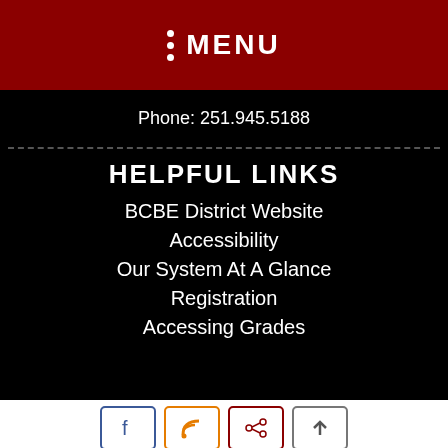MENU
Phone: 251.945.5188
HELPFUL LINKS
BCBE District Website
Accessibility
Our System At A Glance
Registration
Accessing Grades
[Figure (infographic): Social media icons row: Facebook (blue border), RSS feed (orange border), share/network (dark red border), up arrow (gray border)]